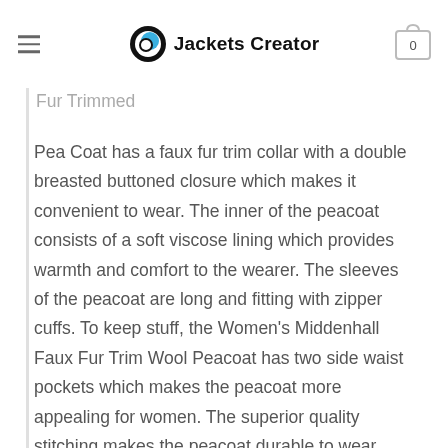Jackets Creator
Peacoat is made from wool. The peacoat is available in a gorgeous shade of colors which gives it a distinguished and exquisite look. The Fur Trimmed Pea Coat has a faux fur trim collar with a double breasted buttoned closure which makes it convenient to wear. The inner of the peacoat consists of a soft viscose lining which provides warmth and comfort to the wearer. The sleeves of the peacoat are long and fitting with zipper cuffs. To keep stuff, the Women's Middenhall Faux Fur Trim Wool Peacoat has two side waist pockets which makes the peacoat more appealing for women. The superior quality stitching makes the peacoat durable to wear. The Fur Trimmed Pea Coat is perfect for formal wear. Elegance and style are the words that perfectly describe this stunning peacoat and it is the choice of stylish women.